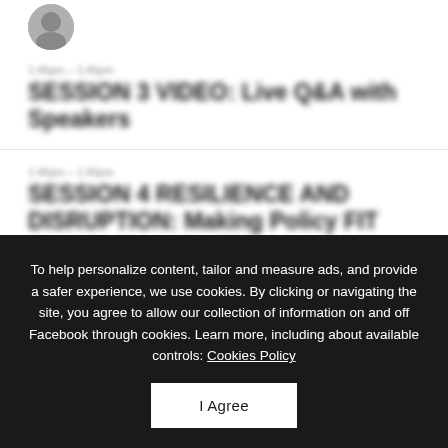[Figure (photo): Blurred circular profile photo at top left]
1:45pm - 1:45pm
SESSION 3 VIDEO: Live Q&A with Speakers
1:45pm - 1:45pm
SESSION 4 RESILIENCE AND DISRUPTION: Making Policy FIT Austria Story Resilient
To help personalize content, tailor and measure ads, and provide a safer experience, we use cookies. By clicking or navigating the site, you agree to allow our collection of information on and off Facebook through cookies. Learn more, including about available controls: Cookies Policy
I Agree